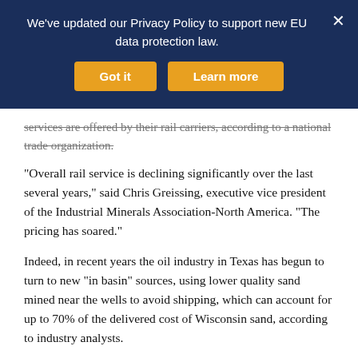We've updated our Privacy Policy to support new EU data protection law.
Got it | Learn more
services are offered by their rail carriers, according to a national trade organization.
“Overall rail service is declining significantly over the last several years,” said Chris Greissing, executive vice president of the Industrial Minerals Association-North America. “The pricing has soared.”
Indeed, in recent years the oil industry in Texas has begun to turn to new “in basin” sources, using lower quality sand mined near the wells to avoid shipping, which can account for up to 70% of the delivered cost of Wisconsin sand, according to industry analysts.
And frac producers say service problems — especially on the Canadian National line — seriously affected their business in the first part of this year.